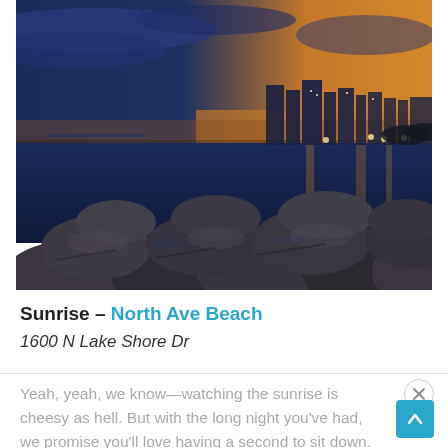[Figure (photo): Nighttime/dawn cityscape photo showing large rocks/boulders along a shoreline in the foreground, calm water reflecting city lights, and a skyline with tall buildings and orange-blue sky in the background. Appears to be Chicago's North Avenue Beach area.]
Sunrise – North Ave Beach
1600 N Lake Shore Dr
Yeah, yeah, we know—watching the sunrise is cheesy as hell. But with the long night you've had, we promise you'll love having a second to sit down. Note that No...